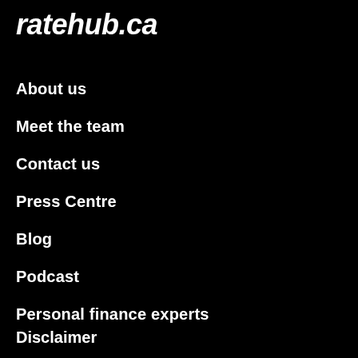ratehub.ca
About us
Meet the team
Contact us
Press Centre
Blog
Podcast
Personal finance experts
Disclaimer